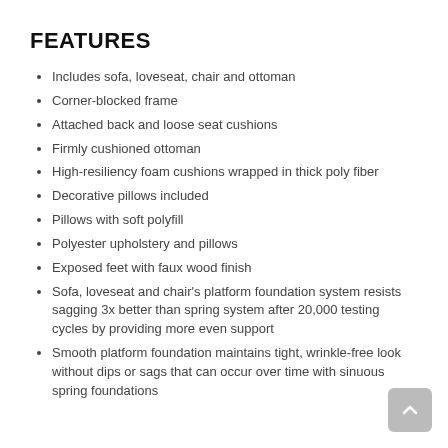FEATURES
Includes sofa, loveseat, chair and ottoman
Corner-blocked frame
Attached back and loose seat cushions
Firmly cushioned ottoman
High-resiliency foam cushions wrapped in thick poly fiber
Decorative pillows included
Pillows with soft polyfill
Polyester upholstery and pillows
Exposed feet with faux wood finish
Sofa, loveseat and chair's platform foundation system resists sagging 3x better than spring system after 20,000 testing cycles by providing more even support
Smooth platform foundation maintains tight, wrinkle-free look without dips or sags that can occur over time with sinuous spring foundations